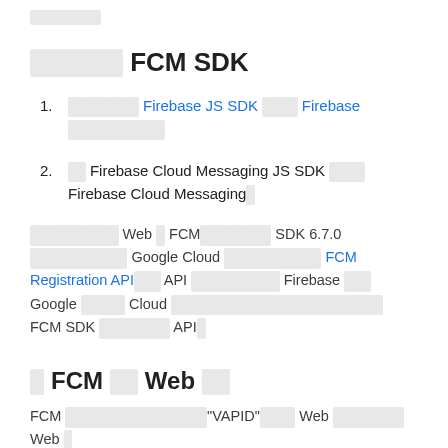□□□□□□□□
□□□□□□ FCM SDK
□□□□□□□□ Firebase JS SDK □□□□ Firebase□□□□□□□□□□□
□□ Firebase Cloud Messaging JS SDK □□□□ Firebase Cloud Messaging□
□□□□□□□□□□ Web □ FCM□□□□□□□□ SDK 6.7.0 □□□□□□□□□□□ Google Cloud □□□□□□□□□□□ FCM Registration API□□□ API □□□□□□□□□□ Firebase □□□ Google □□□□□ Cloud □□□□□□□□□□□□□□□□□□□□□□□□ FCM SDK □□□□□□□□ API□
□ FCM □□ Web □□
FCM □□□□□□□□□□□□□□□□"VAPID"□□□□ Web □□□□□□□□ Web □